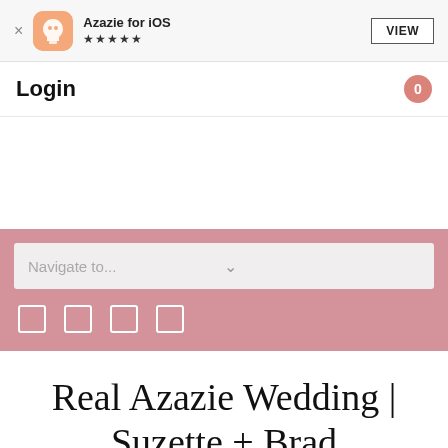[Figure (screenshot): App store banner for Azazie for iOS with orange icon, 5-star rating, and VIEW button]
Login
[Figure (screenshot): Pink navigation bar with 'Navigate to...' dropdown and four social media icon placeholders]
Real Azazie Wedding | Suzette + Brad
3 MAY 2016 / REAL AZAZIE WEDDINGS